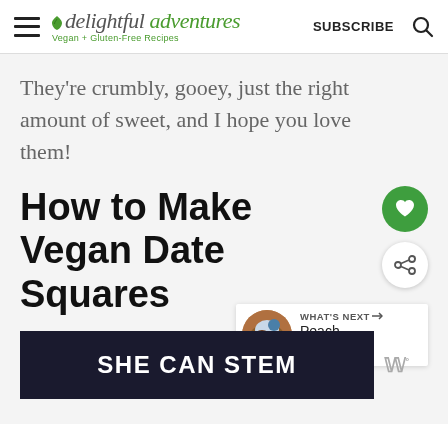delightful adventures — Vegan + Gluten-Free Recipes | SUBSCRIBE
They're crumbly, gooey, just the right amount of sweet, and I hope you love them!
How to Make Vegan Date Squares
WHAT'S NEXT → Peach Blueberry...
[Figure (other): Advertisement banner reading SHE CAN STEM on dark background]